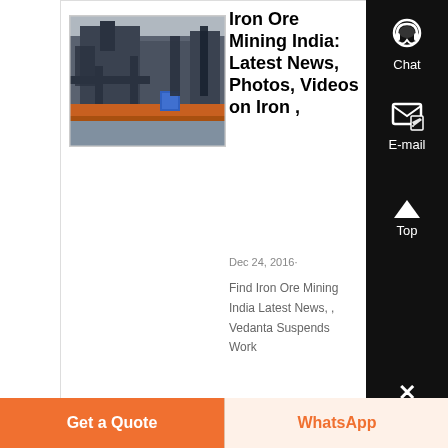[Figure (photo): Industrial iron ore mining facility with heavy equipment, conveyor systems, and infrastructure in India.]
Iron Ore Mining India: Latest News, Photos, Videos on Iron ,
Dec 24, 2016·
Find Iron Ore Mining India Latest News, , Vedanta Suspends Work
Get a Quote
WhatsApp